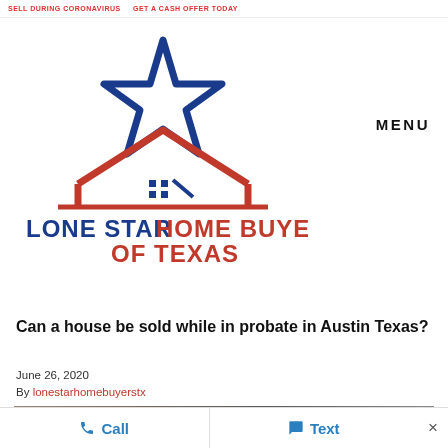SELL DURING CORONAVIRUS   GET A CASH OFFER TODAY
[Figure (logo): Lone Star Home Buyers of Texas logo: blue star outline above a red house roof outline, with blue text LONE STAR HOME BUYERS and red text OF TEXAS]
MENU
Can a house be sold while in probate in Austin Texas?
June 26, 2020
By lonestarhomebuyerstx
[Figure (photo): Partial view of a house exterior, cropped at the bottom of the page]